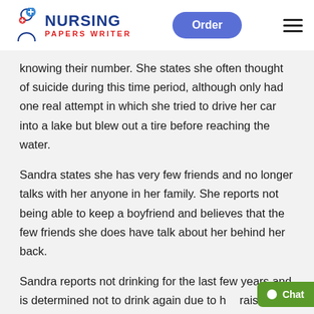NURSING Papers Writer | Order
knowing their number. She states she often thought of suicide during this time period, although only had one real attempt in which she tried to drive her car into a lake but blew out a tire before reaching the water.
Sandra states she has very few friends and no longer talks with her anyone in her family. She reports not being able to keep a boyfriend and believes that the few friends she does have talk about her behind her back.
Sandra reports not drinking for the last few years and is determined not to drink again due to her raising her 2-year-old child. She states she wants